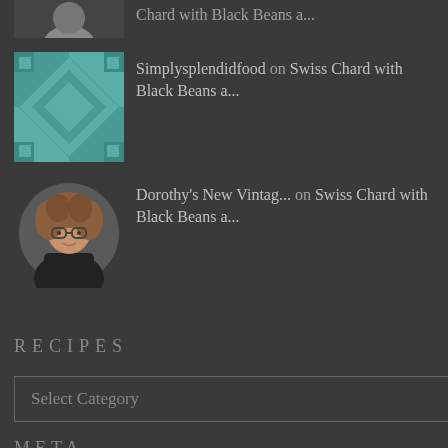[Figure (photo): Avatar photo of a person (partial), top cropped]
Chard with Black Beans a...
[Figure (illustration): Teal geometric quilt pattern avatar for Simplysplendidfood]
Simplysplendidfood on Swiss Chard with Black Beans a...
[Figure (photo): Avatar photo of a woman with curly hair and glasses]
Dorothy's New Vintag... on Swiss Chard with Black Beans a...
RECIPES
Select Category
META
Register
Log in